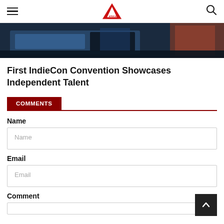Apeksha Sandesh
[Figure (photo): Partial view of a blue-toned stage or display at the IndieCon Convention]
First IndieCon Convention Showcases Independent Talent
COMMENTS
Name
Email
Comment